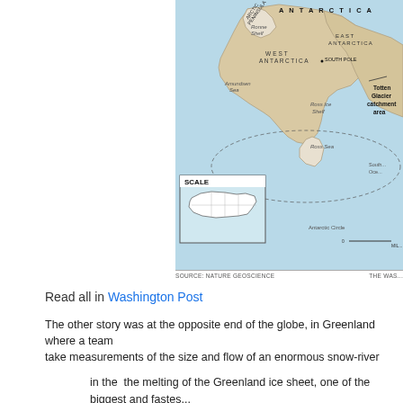[Figure (map): Map of Antarctica showing West Antarctica, East Antarctica, Ronne Shelf, Ross Ice Shelf, Ross Sea, Amundsen Sea, South Pole, Antarctic Circle, Totten Glacier catchment area, and a scale inset with a USA map for size comparison. Source: Nature Geoscience / The Washington Post.]
Read all in Washington Post
The other story was at the opposite end of the globe, in Greenland where a team take measurements of the size and flow of an enormous snow-river
in the  the melting of the Greenland ice sheet, one of the biggest and fastest [which] will drive up sea levels in the coming decades. The full melting of G sea levels by about 20 feet.